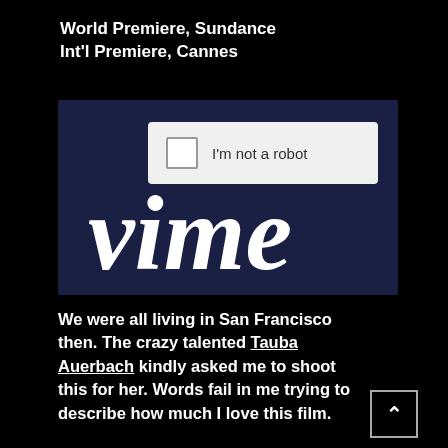World Premiere, Sundance
Int'l Premiere, Cannes
[Figure (screenshot): Vimeo website screenshot showing a CAPTCHA 'I'm not a robot' checkbox over a dark navy Vimeo-branded background with the partial Vimeo logo text visible]
We were all living in San Francisco then. The crazy talented Tauba Auerbach kindly asked me to shoot this for her. Words fail in me trying to describe how much I love this film.